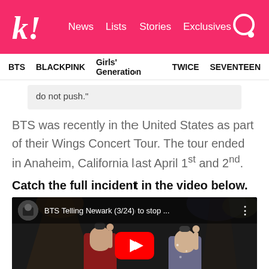k! News  Lists  Stories  Exclusives
BTS  BLACKPINK  Girls' Generation  TWICE  SEVENTEEN
do not push."
BTS was recently in the United States as part of their Wings Concert Tour. The tour ended in Anaheim, California last April 1st and 2nd.
Catch the full incident in the video below.
[Figure (screenshot): YouTube video embed showing BTS concert footage with title 'BTS Telling Newark (3/24) to stop ...' and a YouTube play button overlay]